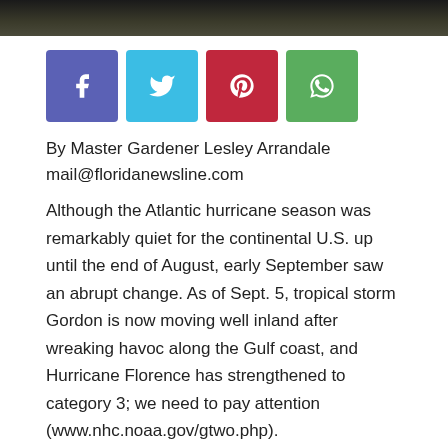[Figure (photo): Dark header image with trees/foliage]
[Figure (infographic): Row of four social media sharing buttons: Facebook (blue-purple), Twitter (cyan), Pinterest (red), WhatsApp (green)]
By Master Gardener Lesley Arrandale
mail@floridanewsline.com
Although the Atlantic hurricane season was remarkably quiet for the continental U.S. up until the end of August, early September saw an abrupt change. As of Sept. 5, tropical storm Gordon is now moving well inland after wreaking havoc along the Gulf coast, and Hurricane Florence has strengthened to category 3; we need to pay attention (www.nhc.noaa.gov/gtwo.php).
If you are interested more generally in the weather in our state — temperatures, rainfall amounts, storm impacts —